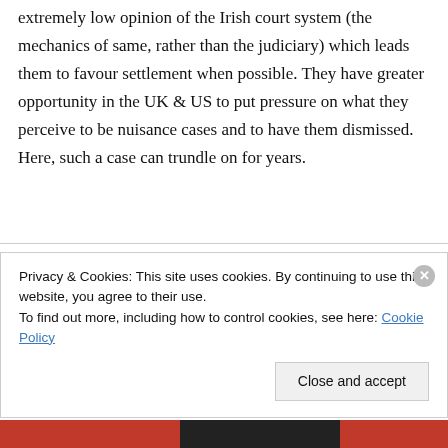extremely low opinion of the Irish court system (the mechanics of same, rather than the judiciary) which leads them to favour settlement when possible. They have greater opportunity in the UK & US to put pressure on what they perceive to be nuisance cases and to have them dismissed. Here, such a case can trundle on for years.
Pingback: Unclear whether solicitors' PI insurance storm …
Privacy & Cookies: This site uses cookies. By continuing to use this website, you agree to their use. To find out more, including how to control cookies, see here: Cookie Policy